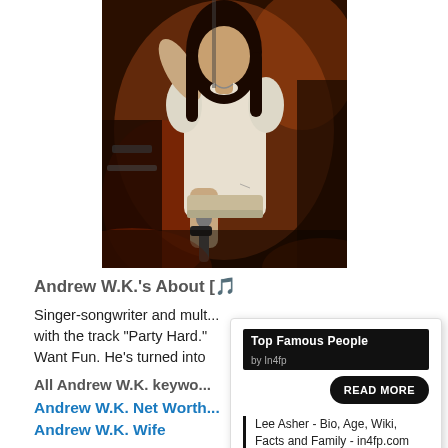[Figure (photo): Photo of Andrew W.K. performing on stage, holding a microphone, wearing a white sleeveless t-shirt, with long dark hair, under stage lighting with red/orange tones.]
Andrew W.K.'s About [🎵
Singer-songwriter and mult... with the track "Party Hard." ... Want Fun. He's turned into
All Andrew W.K. keywo...
Andrew W.K. Net Worth
Andrew W.K. Wife
[Figure (infographic): Popup widget for 'Top Famous People by In4fp' with a READ MORE button and a blockquote linking to 'Lee Asher - Bio, Age, Wiki, Facts and Family - in4fp.com']